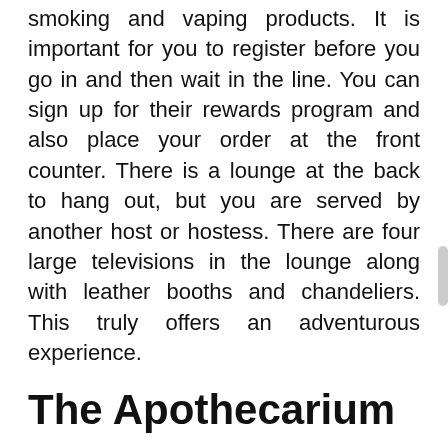smoking and vaping products. It is important for you to register before you go in and then wait in the line. You can sign up for their rewards program and also place your order at the front counter. There is a lounge at the back to hang out, but you are served by another host or hostess. There are four large televisions in the lounge along with leather booths and chandeliers. This truly offers an adventurous experience.
The Apothecarium
The Apothecarium is one of the three marijuana dispensaries owned by the company throughout the city of San Francisco. It has a stylish lobby that looks like